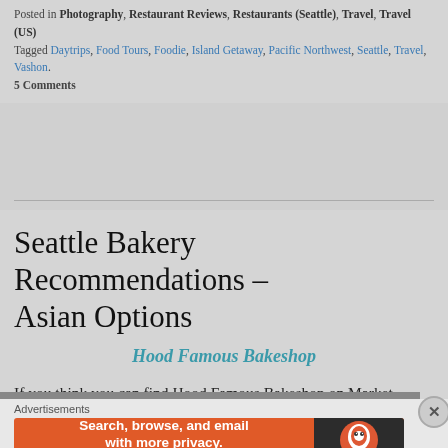Posted in Photography, Restaurant Reviews, Restaurants (Seattle), Travel, Travel (US)
Tagged Daytrips, Food Tours, Foodie, Island Getaway, Pacific Northwest, Seattle, Travel, Vashon.
5 Comments
Seattle Bakery Recommendations – Asian Options
Hood Famous Bakeshop
If you think you can find Hood Famous Bakeshop on Market Street, as the address – 2325 1/2 NW Market Street – indicates, you are wrong.
[Figure (photo): Partial image strip at bottom of article]
Advertisements
[Figure (screenshot): DuckDuckGo advertisement banner: Search, browse, and email with more privacy. All in One Free App]